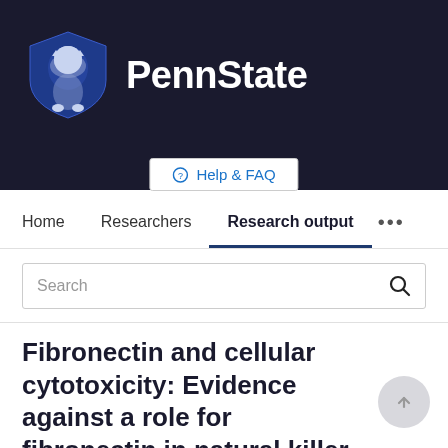[Figure (logo): Penn State university logo with lion shield icon and PennState text in white on dark navy background]
Help & FAQ
Home  Researchers  Research output  ...
Search
Fibronectin and cellular cytotoxicity: Evidence against a role for fibronectin in natural killer activity